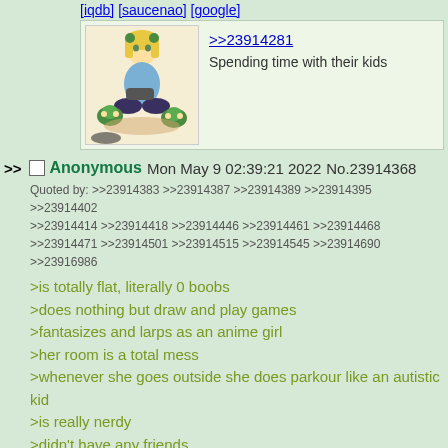[iqdb] [saucenao] [google]
[Figure (illustration): Anime-style illustration of a blonde girl sitting on the floor playing video games with small turtle/frog creatures around her, on a peach/orange background]
>>23914281
Spending time with their kids
>> □ Anonymous Mon May 9 02:39:21 2022 No.23914368
Quoted by: >>23914383 >>23914387 >>23914389 >>23914395 >>23914402 >>23914414 >>23914418 >>23914446 >>23914461 >>23914468 >>23914471 >>23914501 >>23914515 >>23914545 >>23914690 >>23916986
>is totally flat, literally 0 boobs
>does nothing but draw and play games
>fantasizes and larps as an anime girl
>her room is a total mess
>whenever she goes outside she does parkour like an autistic kid
>is really nerdy
>didn't have any friends
>her only sexual experience was role-playing in FFIX
Do people really want to fuck/date Ina? She